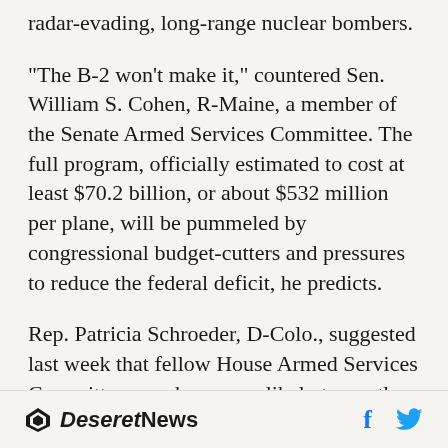radar-evading, long-range nuclear bombers.
"The B-2 won't make it," countered Sen. William S. Cohen, R-Maine, a member of the Senate Armed Services Committee. The full program, officially estimated to cost at least $70.2 billion, or about $532 million per plane, will be pummeled by congressional budget-cutters and pressures to reduce the federal deficit, he predicts.
Rep. Patricia Schroeder, D-Colo., suggested last week that fellow House Armed Services Committee members were likely to see the B-2 program as the Pentagon's last "cash cow" to divert funds to pork barrel projects now that
Deseret News  f  [Twitter]